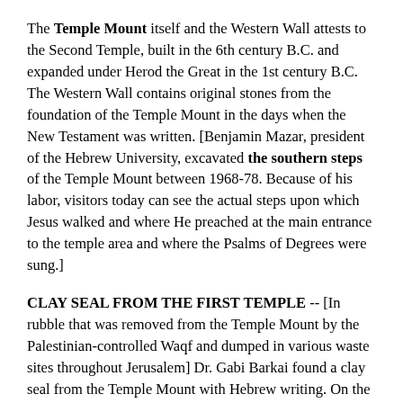The Temple Mount itself and the Western Wall attests to the Second Temple, built in the 6th century B.C. and expanded under Herod the Great in the 1st century B.C. The Western Wall contains original stones from the foundation of the Temple Mount in the days when the New Testament was written. [Benjamin Mazar, president of the Hebrew University, excavated the southern steps of the Temple Mount between 1968-78. Because of his labor, visitors today can see the actual steps upon which Jesus walked and where He preached at the main entrance to the temple area and where the Psalms of Degrees were sung.]
CLAY SEAL FROM THE FIRST TEMPLE -- [In rubble that was removed from the Temple Mount by the Palestinian-controlled Waqf and dumped in various waste sites throughout Jerusalem] Dr. Gabi Barkai found a clay seal from the Temple Mount with Hebrew writing. On the third line of the ancient seal was the name Immer, which is the last name of a man, Pashur Ben Immere, whom the Book of Jeremiah describes as an important priest in the first Temple. Looking at a set of broken lines above the name Immer, Barkai concluded that the seal belonged to a relative of Pashur named Galibu Ben Immer. The clay seal proved that a noted